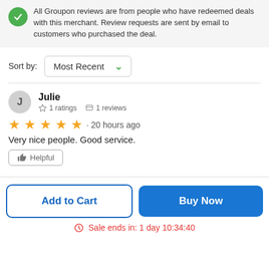All Groupon reviews are from people who have redeemed deals with this merchant. Review requests are sent by email to customers who purchased the deal.
Sort by: Most Recent
Julie
☆ 1 ratings  □ 1 reviews
★★★★★ · 20 hours ago
Very nice people. Good service.
[Helpful]
Add to Cart
Buy Now
Sale ends in: 1 day 10:34:40